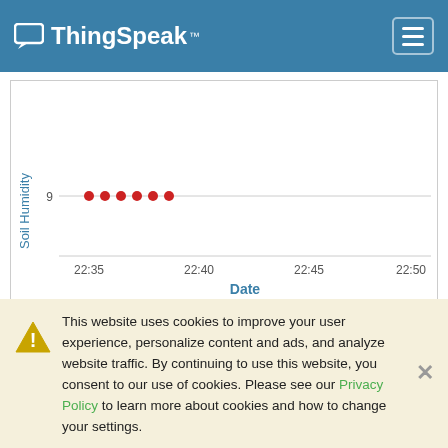ThingSpeak
[Figure (scatter-plot): Soil Humidity]
Field 2 Chart
This website uses cookies to improve your user experience, personalize content and ads, and analyze website traffic. By continuing to use this website, you consent to our use of cookies. Please see our Privacy Policy to learn more about cookies and how to change your settings.